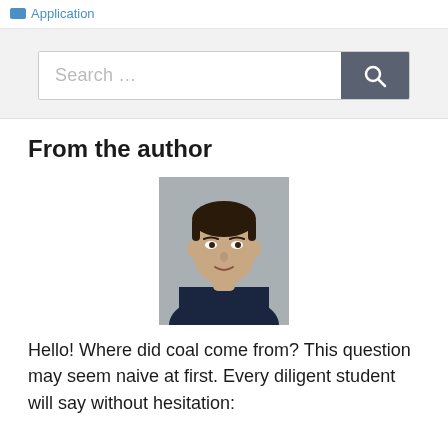Application
[Figure (screenshot): Search bar with placeholder text 'Search …' and a dark gray search button with magnifying glass icon]
From the author
[Figure (photo): Headshot of a young man with dark hair, wearing a dark suit jacket, smiling slightly against a gray background]
Hello! Where did coal come from? This question may seem naive at first. Every diligent student will say without hesitation: